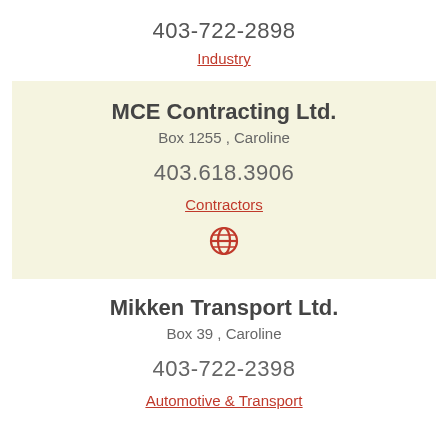403-722-2898
Industry
MCE Contracting Ltd.
Box 1255 , Caroline
403.618.3906
Contractors
[Figure (other): Globe/web icon in red]
Mikken Transport Ltd.
Box 39 , Caroline
403-722-2398
Automotive & Transport